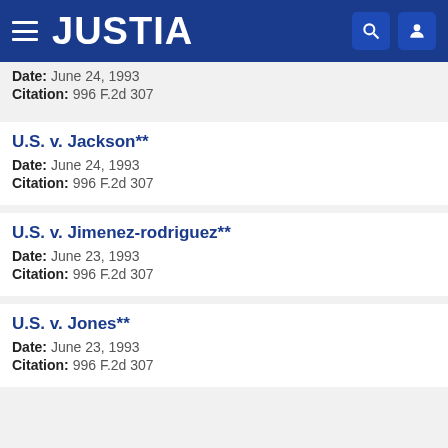JUSTIA
Date: June 24, 1993
Citation: 996 F.2d 307
U.S. v. Jackson**
Date: June 24, 1993
Citation: 996 F.2d 307
U.S. v. Jimenez-rodriguez**
Date: June 23, 1993
Citation: 996 F.2d 307
U.S. v. Jones**
Date: June 23, 1993
Citation: 996 F.2d 307